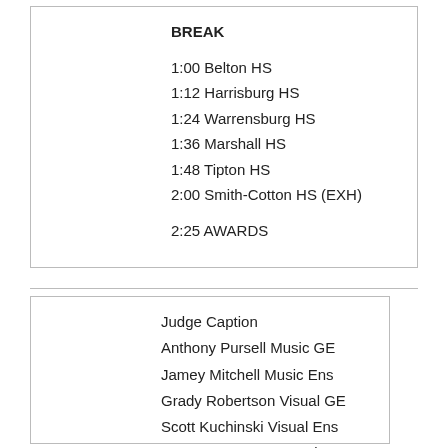BREAK
1:00 Belton HS
1:12 Harrisburg HS
1:24 Warrensburg HS
1:36 Marshall HS
1:48 Tipton HS
2:00 Smith-Cotton HS (EXH)
2:25 AWARDS
Judge Caption
Anthony Pursell Music GE
Jamey Mitchell Music Ens
Grady Robertson Visual GE
Scott Kuchinski Visual Ens
Jeremy Meyer Percussion
Ann Kempnar Guard
Chris Putnam Clinician 1